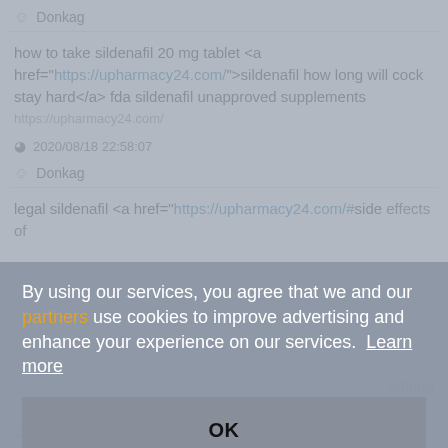Donkag
how to take sildenafil 20 mg tablet <a href="https://upharmacy24.com/">sildenafil how long will cock stay hard</a> fda sildenafil unapproved supplements
https://upharmacy24.com/
2020/08/18 22:58:07
Donkag
legal sildenafil <a href="https://upharmacy24.com/#">side effects of ...natural
By using our services, you agree that we and our partners use cookies to improve advertising and enhance your experience on our services. Learn more
OK
2020/08/19 2:59:10